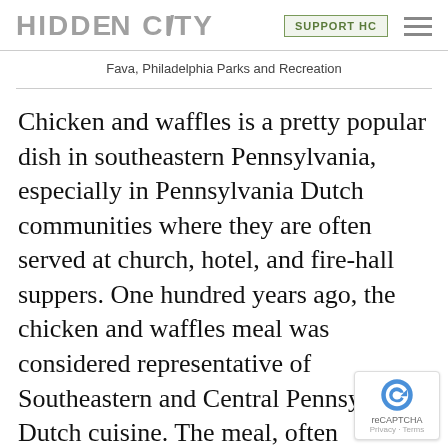HIDDEN CITY | SUPPORT HC
Fava, Philadelphia Parks and Recreation
Chicken and waffles is a pretty popular dish in southeastern Pennsylvania, especially in Pennsylvania Dutch communities where they are often served at church, hotel, and fire-hall suppers. One hundred years ago, the chicken and waffles meal was considered representative of Southeastern and Central Pennsylvania Dutch cuisine. The meal, often mistaken for a traditional Southern dish, has seen a resurgence in the last decade. You